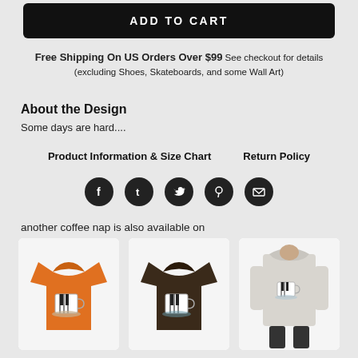ADD TO CART
Free Shipping On US Orders Over $99 See checkout for details (excluding Shoes, Skateboards, and some Wall Art)
About the Design
Some days are hard....
Product Information & Size Chart   Return Policy
[Figure (other): Social media icons: Facebook, Tumblr, Twitter, Pinterest, Email]
another coffee nap is also available on
[Figure (photo): Orange t-shirt with coffee mug design]
[Figure (photo): Dark brown t-shirt with coffee mug design]
[Figure (photo): Light gray hoodie with coffee mug design on back]